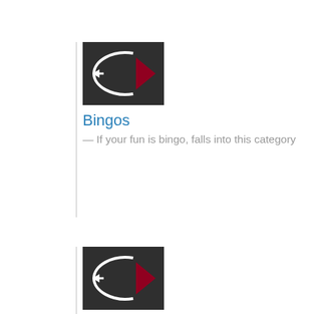Bingos — If your fun is bingo, falls into this category
Horse racings — Bet on the best horse racing
Best casinos — Enjoy the best casino games